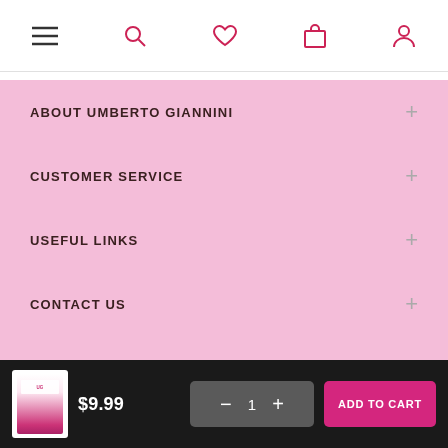Navigation bar with menu, search, wishlist, cart, and account icons
ABOUT UMBERTO GIANNINI
CUSTOMER SERVICE
USEFUL LINKS
CONTACT US
Subscribe for discounts, top tips and more ☰
[Figure (infographic): Social media icons: Facebook, Twitter, Instagram, Pinterest]
$9.99  −  1  +  ADD TO CART